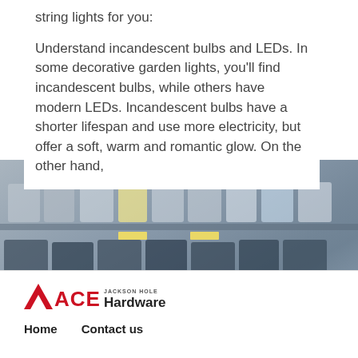string lights for you:
Understand incandescent bulbs and LEDs. In some decorative garden lights, you'll find incandescent bulbs, while others have modern LEDs. Incandescent bulbs have a shorter lifespan and use more electricity, but offer a soft, warm and romantic glow. On the other hand,
[Figure (photo): Photo of a retail store shelf displaying lighting products and bulbs, showing various product packaging in muted, washed-out tones.]
[Figure (logo): ACE Hardware Jackson Hole logo — red triangle ACE letters with Hardware text and JACKSON HOLE above Hardware in smaller text.]
Home    Contact us